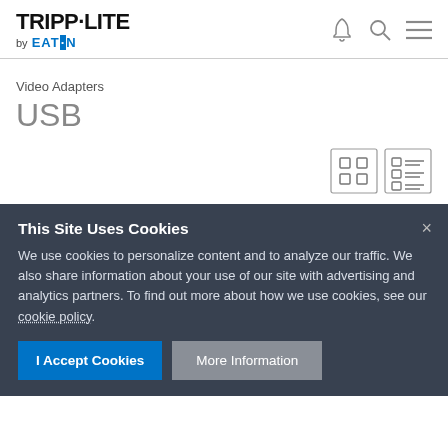TRIPP·LITE by EATON
Video Adapters
USB
[Figure (other): Grid/list view toggle icons (two buttons with grid icon and list icon)]
This Site Uses Cookies
We use cookies to personalize content and to analyze our traffic. We also share information about your use of our site with advertising and analytics partners. To find out more about how we use cookies, see our cookie policy.
I Accept Cookies   More Information